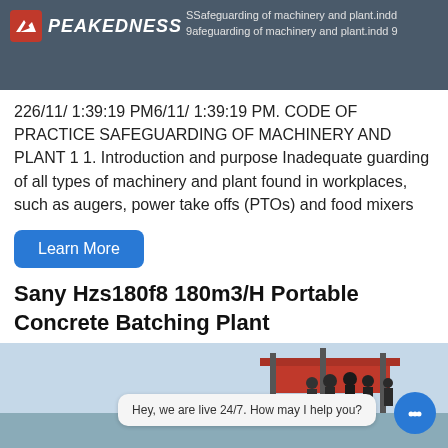SSafeguarding of machinery and plant.indd 9afeguarding of machinery and plant.indd 9
226/11/ 1:39:19 PM6/11/ 1:39:19 PM. CODE OF PRACTICE SAFEGUARDING OF MACHINERY AND PLANT 1 1. Introduction and purpose Inadequate guarding of all types of machinery and plant found in workplaces, such as augers, power take offs (PTOs) and food mixers
Learn More
Sany Hzs180f8 180m3/H Portable Concrete Batching Plant
[Figure (photo): Photograph of industrial concrete batching plant equipment with silhouetted figures in the background]
Hey, we are live 24/7. How may I help you?